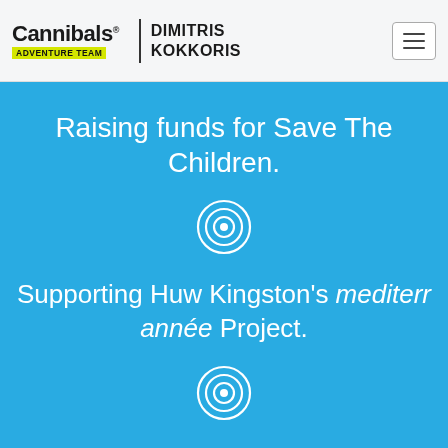Cannibals ADVENTURE TEAM | DIMITRIS KOKKORIS
Raising funds for Save The Children.
[Figure (illustration): Concentric circles target/bullseye icon in white outline on blue background]
Supporting Huw Kingston's méditerr année Project.
[Figure (illustration): Concentric circles target/bullseye icon in white outline on blue background]
A crew of three, an Australian, a Slovenian and a Greek.